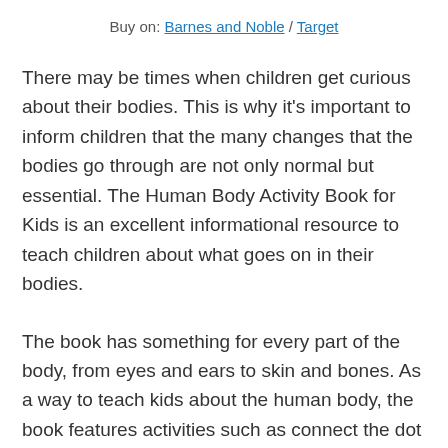Buy on: Barnes and Noble / Target
There may be times when children get curious about their bodies. This is why it's important to inform children that the many changes that the bodies go through are not only normal but essential. The Human Body Activity Book for Kids is an excellent informational resource to teach children about what goes on in their bodies.
The book has something for every part of the body, from eyes and ears to skin and bones. As a way to teach kids about the human body, the book features activities such as connect the dot activities, crosswords, and practical experiments. To maintain children's attentions and keep them engaged, the book also includes fun trivia that the